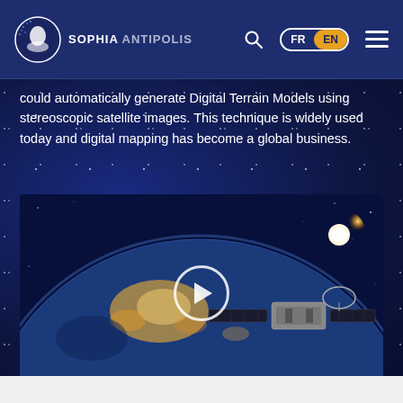SOPHIA ANTIPOLIS — FR EN
could automatically generate Digital Terrain Models using stereoscopic satellite images. This technique is widely used today and digital mapping has become a global business.
[Figure (photo): Video thumbnail showing a satellite in orbit above Earth at night, with city lights visible on the surface and the sun visible in the background. A circular play button overlay is in the center.]